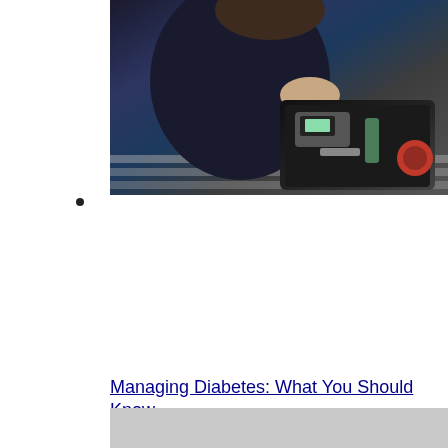[Figure (photo): Person sitting on a bench with a diabetes management kit/bag open, containing medical supplies including what appears to be a glucose meter and other diabetic supplies.]
•
Managing Diabetes: What You Should Know
[Figure (photo): Gray placeholder image below the title link]